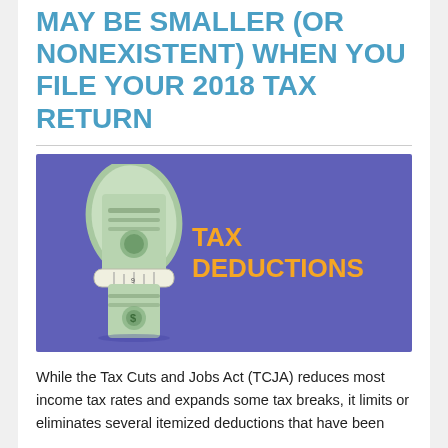MAY BE SMALLER (OR NONEXISTENT) WHEN YOU FILE YOUR 2018 TAX RETURN
[Figure (photo): A US dollar bill squeezed tightly by a measuring tape, on a purple/blue background, with the text 'TAX DEDUCTIONS' in large orange bold letters to the right.]
While the Tax Cuts and Jobs Act (TCJA) reduces most income tax rates and expands some tax breaks, it limits or eliminates several itemized deductions that have been